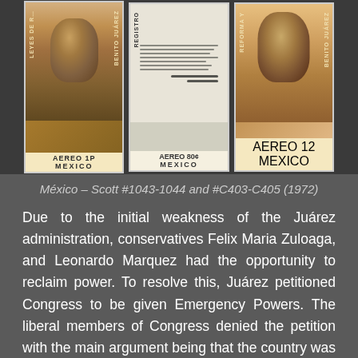[Figure (photo): Three Mexican postage stamps: AEREO MEXICO series. Left stamp shows portrait of Benito Juárez with 'LEYES DE REFORMA' text. Middle stamp shows a historical document/registry. Right stamp shows another portrait with 'REFORMA Y BENITO JUÁREZ' text. All labeled AEREO MEXICO.]
México – Scott #1043-1044 and #C403-C405 (1972)
Due to the initial weakness of the Juárez administration, conservatives Felix Maria Zuloaga, and Leonardo Marquez had the opportunity to reclaim power. To resolve this, Juárez petitioned Congress to be given Emergency Powers. The liberal members of Congress denied the petition with the main argument being that the country was under a current constitutional government that had been achieved only through a very bloody civil war. It was not consistent for Juárez, who had implemented that constitution, now to wish to violate the legal functions of the constitution by giving himself